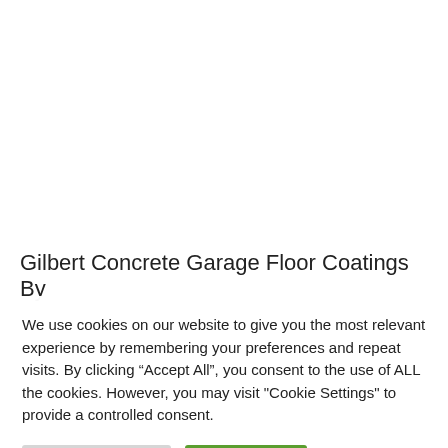[Figure (photo): White/blank image area at top of page, partially visible photo or blank space]
Gilbert Concrete Garage Floor Coatings By
We use cookies on our website to give you the most relevant experience by remembering your preferences and repeat visits. By clicking “Accept All”, you consent to the use of ALL the cookies. However, you may visit "Cookie Settings" to provide a controlled consent.